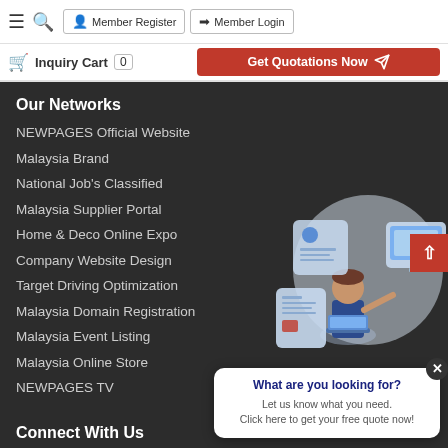Member Register | Member Login | Inquiry Cart 0 | Get Quotations Now
Our Networks
NEWPAGES Official Website
Malaysia Brand
National Job's Classified
Malaysia Supplier Portal
Home & Deco Online Expo
Company Website Design
Target Driving Optimization
Malaysia Domain Registration
Malaysia Event Listing
Malaysia Online Store
NEWPAGES TV
[Figure (illustration): Illustration of a person working with digital documents and laptop, with floating UI elements around them]
What are you looking for? Let us know what you need. Click here to get your free quote now!
Connect With Us